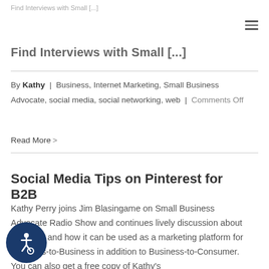Find Interviews with Small [...]
By Kathy | Business, Internet Marketing, Small Business Advocate, social media, social networking, web | Comments Off
Read More >
Social Media Tips on Pinterest for B2B
Kathy Perry joins Jim Blasingame on Small Business Advocate Radio Show and continues lively discussion about Pinterest and how it can be used as a marketing platform for Business-to-Business in addition to Business-to-Consumer. You can also get a free copy of Kathy's